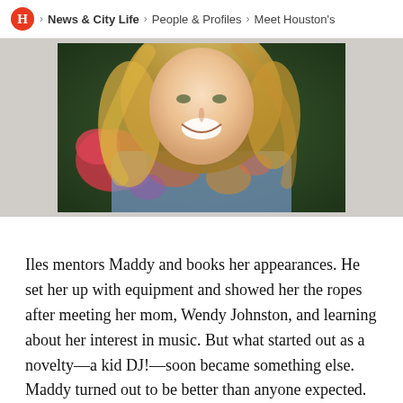H > News & City Life > People & Profiles > Meet Houston's
[Figure (photo): A smiling blonde woman laughing outdoors, wearing a colorful floral-patterned top, with green foliage and pink flowers in the background.]
Iles mentors Maddy and books her appearances. He set her up with equipment and showed her the ropes after meeting her mom, Wendy Johnston, and learning about her interest in music. But what started out as a novelty—a kid DJ!—soon became something else. Maddy turned out to be better than anyone expected.
“Once I saw it, I was like, ‘oh, this is gonna be a much